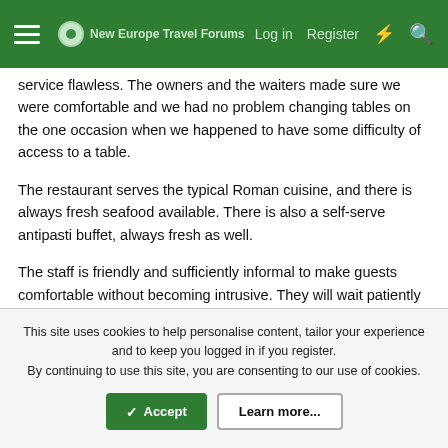New Europe Travel Forums — Log in  Register
service flawless. The owners and the waiters made sure we were comfortable and we had no problem changing tables on the one occasion when we happened to have some difficulty of access to a table.
The restaurant serves the typical Roman cuisine, and there is always fresh seafood available. There is also a self-serve antipasti buffet, always fresh as well.
The staff is friendly and sufficiently informal to make guests comfortable without becoming intrusive. They will wait patiently through the guests' sundry levels of Italian, and complete details or make recommendations in English as well if necessary.
We found that the best bet was always to ask the waiters what
This site uses cookies to help personalise content, tailor your experience and to keep you logged in if you register.
By continuing to use this site, you are consenting to our use of cookies.